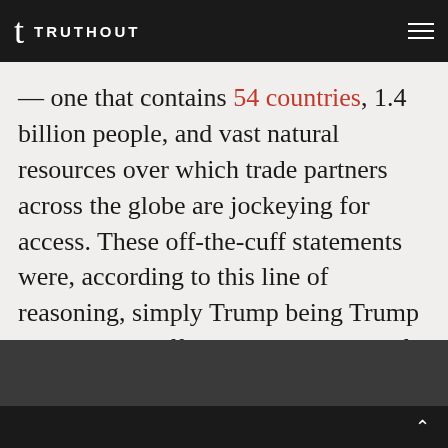TRUTHOUT
— one that contains 54 countries, 1.4 billion people, and vast natural resources over which trade partners across the globe are jockeying for access. These off-the-cuff statements were, according to this line of reasoning, simply Trump being Trump and blowing off steam about a part of the world that he never showed any desire to understand.